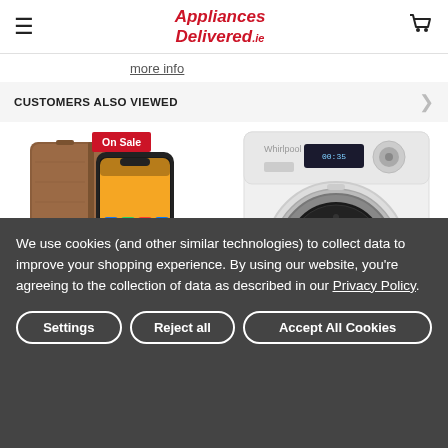Appliances Delivered.ie
more info
CUSTOMERS ALSO VIEWED
[Figure (photo): Brown leather phone case with wallet-style cover next to an iPhone showing home screen, with On Sale badge]
[Figure (photo): Whirlpool white front-loading washing machine]
We use cookies (and other similar technologies) to collect data to improve your shopping experience. By using our website, you're agreeing to the collection of data as described in our Privacy Policy.
Settings | Reject all | Accept All Cookies